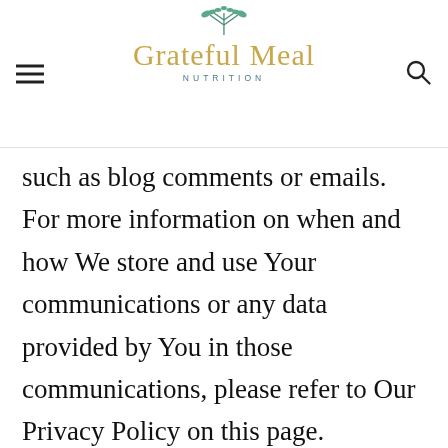Grateful Meal Nutrition
such as blog comments or emails. For more information on when and how We store and use Your communications or any data provided by You in those communications, please refer to Our Privacy Policy on this page.
Privacy & Cookies: This site uses cookies. By continuing to use this website, you agree to their use.
To find out more, including how to control cookies, see here: Privacy Policy
Close and accept
business. You agree not to submit any content or communications that could be